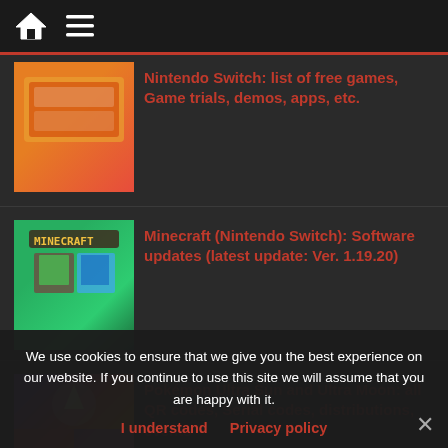Home | Menu
Nintendo Switch: list of free games, Game trials, demos, apps, etc.
Minecraft (Nintendo Switch): Software updates (latest update: Ver. 1.19.20)
Pokémon Ultra Sun and Ultra Moon: all QR codes, Serial codes, distributions, events
We use cookies to ensure that we give you the best experience on our website. If you continue to use this site we will assume that you are happy with it.
I understand   Privacy policy